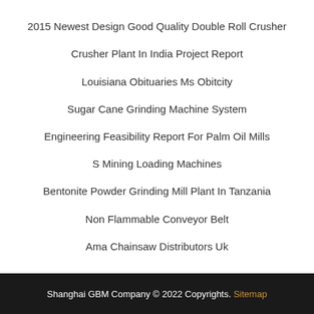2015 Newest Design Good Quality Double Roll Crusher
Crusher Plant In India Project Report
Louisiana Obituaries Ms Obitcity
Sugar Cane Grinding Machine System
Engineering Feasibility Report For Palm Oil Mills
S Mining Loading Machines
Bentonite Powder Grinding Mill Plant In Tanzania
Non Flammable Conveyor Belt
Ama Chainsaw Distributors Uk
Shanghai GBM Company © 2022 Copyrights. Sitemap